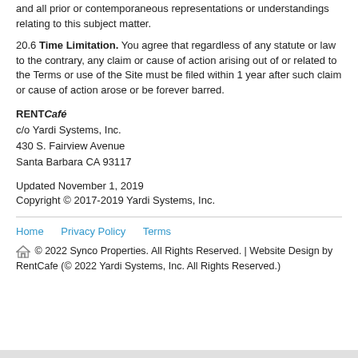and all prior or contemporaneous representations or understandings relating to this subject matter.
20.6 Time Limitation. You agree that regardless of any statute or law to the contrary, any claim or cause of action arising out of or related to the Terms or use of the Site must be filed within 1 year after such claim or cause of action arose or be forever barred.
RENTCafé
c/o Yardi Systems, Inc.
430 S. Fairview Avenue
Santa Barbara CA 93117
Updated November 1, 2019
Copyright © 2017-2019 Yardi Systems, Inc.
Home   Privacy Policy   Terms
⌂ © 2022 Synco Properties. All Rights Reserved. | Website Design by RentCafe (© 2022 Yardi Systems, Inc. All Rights Reserved.)